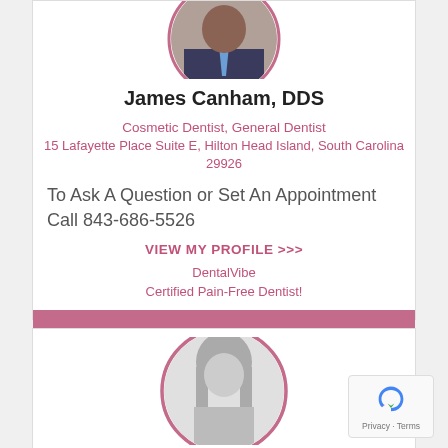[Figure (photo): Circular profile photo of James Canham, DDS, wearing a suit and tie, cropped at top]
James Canham, DDS
Cosmetic Dentist, General Dentist
15 Lafayette Place Suite E, Hilton Head Island, South Carolina 29926
To Ask A Question or Set An Appointment Call 843-686-5526
VIEW MY PROFILE >>>
DentalVibe
Certified Pain-Free Dentist!
[Figure (photo): Circular profile photo of a woman with long dark hair (black and white photo), partially visible at bottom of page]